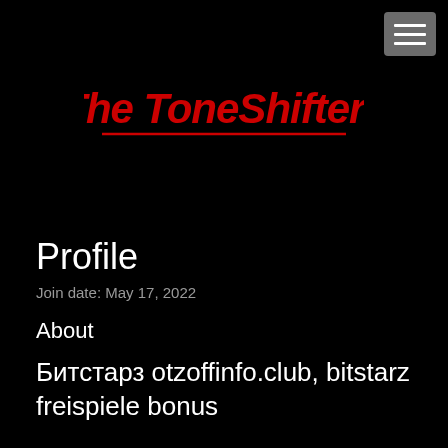[Figure (logo): The ToneShifters logo in red italic stylized text with a red underline, on a black background]
Profile
Join date: May 17, 2022
About
Битстарз otzoffinfo.club, bitstarz freispiele bonus